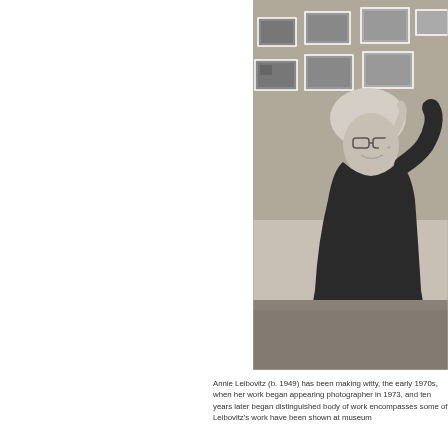[Figure (photo): Black and white photograph of Annie Leibovitz smiling, wearing glasses and a dark top, with her hand raised near her face. In the background are photographs displayed on a wall in what appears to be a gallery or studio setting.]
Annie Leibovitz (b. 1949) has been making witty, the early 1970s, when her work began appearing photographer in 1973, and ten years later began distinguished body of work encompasses some of Leibovitz's work have been shown at museum